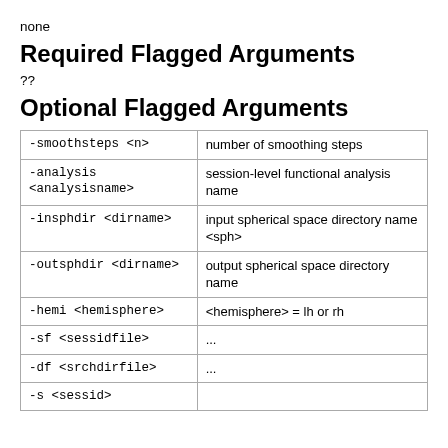none
Required Flagged Arguments
??
Optional Flagged Arguments
|  |  |
| --- | --- |
| -smoothsteps <n> | number of smoothing steps |
| -analysis <analysisname> | session-level functional analysis name |
| -insphdir <dirname> | input spherical space directory name <sph> |
| -outsphdir <dirname> | output spherical space directory name |
| -hemi <hemisphere> | <hemisphere> = lh or rh |
| -sf <sessidfile> | ... |
| -df <srchdirfile> | ... |
| -s <sessid> |  |